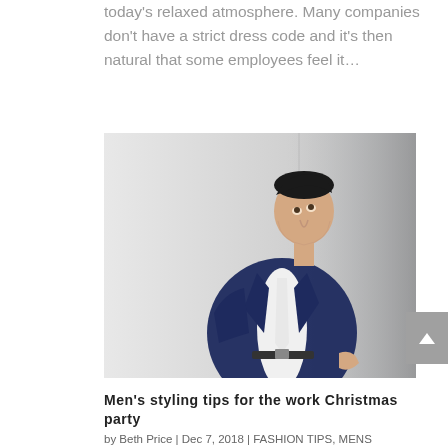today's relaxed atmosphere. Many companies don't have a strict dress code and it's then natural that some employees feel it…
[Figure (photo): Young man in a navy blue blazer and white shirt leaning against a wall, looking upward, styled in smart casual fashion]
Men's styling tips for the work Christmas party
by Beth Price | Dec 7, 2018 | FASHION TIPS, MENS